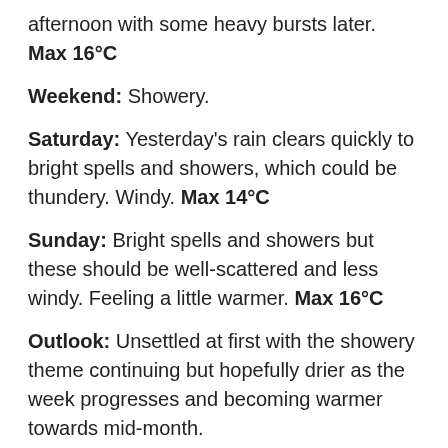afternoon with some heavy bursts later. Max 16°C
Weekend: Showery.
Saturday: Yesterday's rain clears quickly to bright spells and showers, which could be thundery. Windy. Max 14°C
Sunday: Bright spells and showers but these should be well-scattered and less windy. Feeling a little warmer. Max 16°C
Outlook: Unsettled at first with the showery theme continuing but hopefully drier as the week progresses and becoming warmer towards mid-month.
May 2019 Stats
Max 20.5°C (15th)
Min 2.2°C (4th)